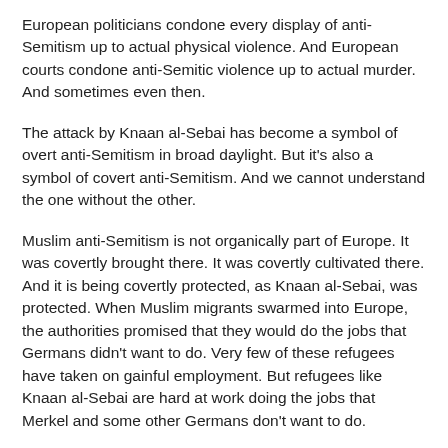European politicians condone every display of anti-Semitism up to actual physical violence. And European courts condone anti-Semitic violence up to actual murder. And sometimes even then.
The attack by Knaan al-Sebai has become a symbol of overt anti-Semitism in broad daylight. But it's also a symbol of covert anti-Semitism. And we cannot understand the one without the other.
Muslim anti-Semitism is not organically part of Europe. It was covertly brought there. It was covertly cultivated there. And it is being covertly protected, as Knaan al-Sebai, was protected. When Muslim migrants swarmed into Europe, the authorities promised that they would do the jobs that Germans didn't want to do. Very few of these refugees have taken on gainful employment. But refugees like Knaan al-Sebai are hard at work doing the jobs that Merkel and some other Germans don't want to do.